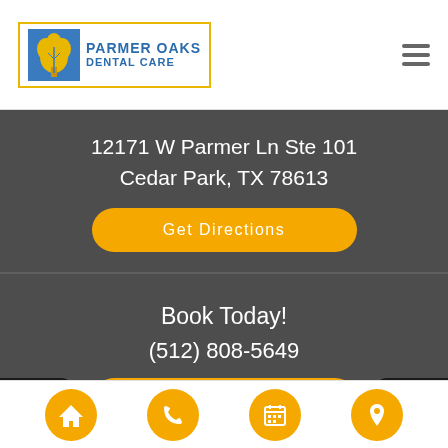[Figure (logo): Parmer Oaks Dental Care logo with gold border, blue text, and decorative icon]
12171 W Parmer Ln Ste 101
Cedar Park, TX 78613
Get Directions
Book Today!
(512) 808-5649
Request Appointment
[Figure (infographic): Bottom navigation bar with four yellow circular icons: home, phone, calendar, location pin]